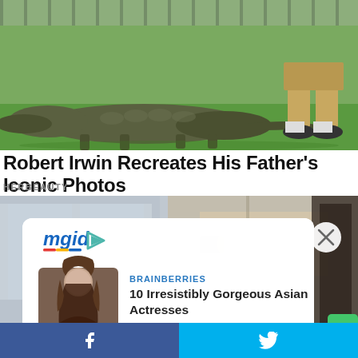[Figure (photo): A crocodile on green grass with a person's legs visible in the background wearing khaki shorts and dark shoes]
Robert Irwin Recreates His Father's Iconic Photos
HERBEAUTY
[Figure (photo): Background photo of an indoor/office setting, blurred. Overlaid with an mgid advertisement widget showing a close button (x), the mgid logo, and a promoted article card from BRAINBERRIES titled '10 Irresistibly Gorgeous Asian Actresses' with a thumbnail of a woman with long brown hair.]
Facebook share button | Twitter share button